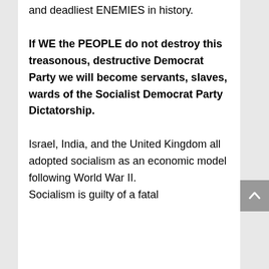and deadliest ENEMIES in history.
If WE the PEOPLE do not destroy this treasonous, destructive Democrat Party we will become servants, slaves, wards of the Socialist Democrat Party Dictatorship.
Israel, India, and the United Kingdom all adopted socialism as an economic model following World War II.
Socialism is guilty of a fatal